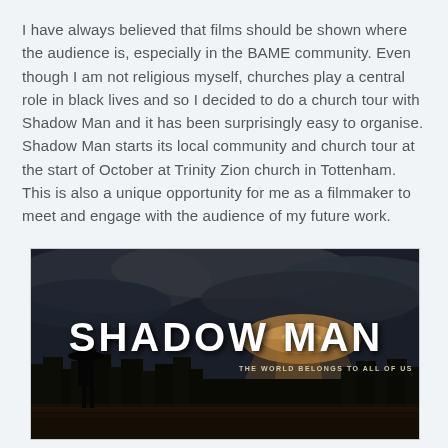I have always believed that films should be shown where the audience is, especially in the BAME community. Even though I am not religious myself, churches play a central role in black lives and so I decided to do a church tour with Shadow Man and it has been surprisingly easy to organise. Shadow Man starts its local community and church tour at the start of October at Trinity Zion church in Tottenham. This is also a unique opportunity for me as a filmmaker to meet and engage with the audience of my future work.
[Figure (illustration): Movie poster for 'Shadow Man' showing a silhouette of a figure wearing a hat against a dramatic stormy sky and city skyline. Large bold white text reads 'SHADOW MAN' with subtitle 'THE WORLD BELONGS TO ALL OF US']